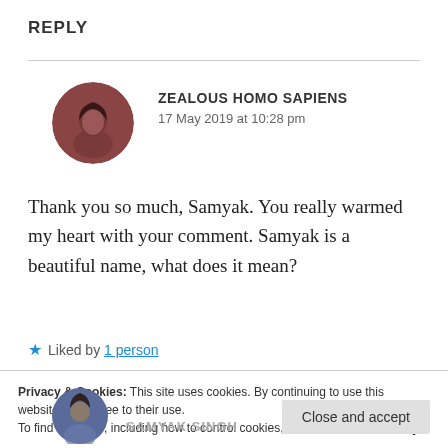REPLY
ZEALOUS HOMO SAPIENS
17 May 2019 at 10:28 pm
Thank you so much, Samyak. You really warmed my heart with your comment. Samyak is a beautiful name, what does it mean?
★ Liked by 1 person
Privacy & Cookies: This site uses cookies. By continuing to use this website, you agree to their use.
To find out more, including how to control cookies, see here: Cookie Policy
Close and accept
SAMYAK SINGH